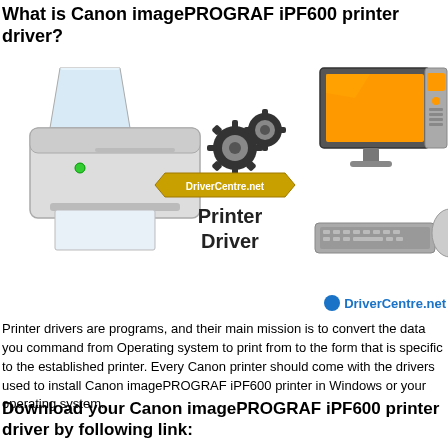What is Canon imagePROGRAF iPF600 printer driver?
[Figure (illustration): Illustration showing a printer on the left, a desktop computer with monitor on the right, and in the center two gear icons with an arrow-shaped banner reading 'DriverCentre.net' and bold text 'Printer Driver' below.]
DriverCentre.net
Printer drivers are programs, and their main mission is to convert the data you command from Operating system to print from to the form that is specific to the established printer. Every Canon printer should come with the drivers used to install Canon imagePROGRAF iPF600 printer in Windows or your operating system.
Download your Canon imagePROGRAF iPF600 printer driver by following link: